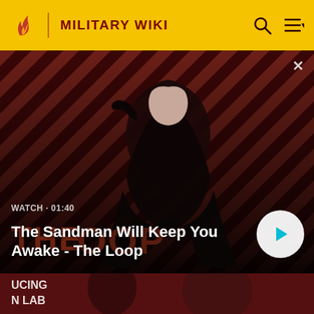MILITARY WIKI
[Figure (screenshot): Video banner showing The Sandman character with diagonal stripe background (red/black). Text overlay: WATCH · 01:40 and title 'The Sandman Will Keep You Awake - The Loop'. White play button on right.]
WATCH · 01:40
The Sandman Will Keep You Awake - The Loop
[Figure (screenshot): Bottom partial banner showing two costumed characters from a TV show, with text overlay 'UCING N LAB' visible on the left side.]